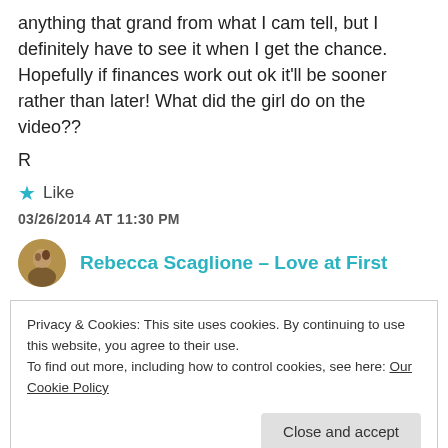anything that grand from what I cam tell, but I definitely have to see it when I get the chance. Hopefully if finances work out ok it'll be sooner rather than later! What did the girl do on the video??
R
★ Like
03/26/2014 AT 11:30 PM
Rebecca Scaglione - Love at First
Privacy & Cookies: This site uses cookies. By continuing to use this website, you agree to their use.
To find out more, including how to control cookies, see here: Our Cookie Policy
Close and accept
super cool to see, and you can sit on